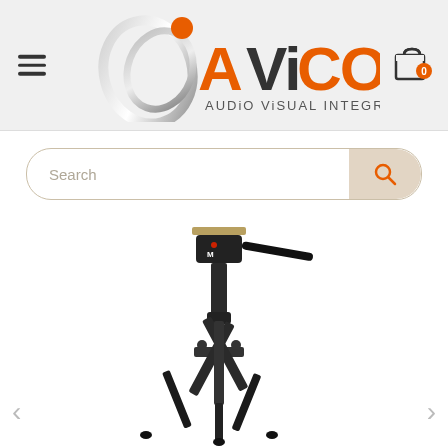[Figure (logo): AVico Audio Visual Integration logo with stylized A letter and orange dot]
Search
[Figure (photo): Professional video camera tripod with fluid head and pan handle, black aluminum, extended legs]